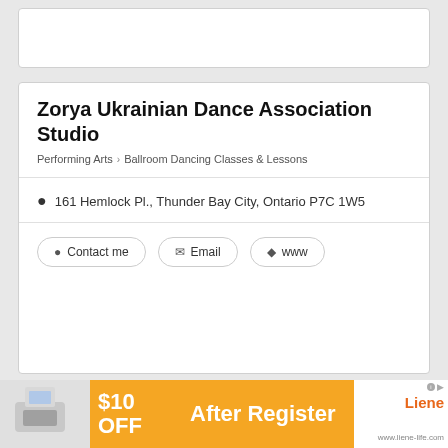Zorya Ukrainian Dance Association Studio
Performing Arts > Ballroom Dancing Classes & Lessons
161 Hemlock Pl., Thunder Bay City, Ontario P7C 1W5
Contact me | Email | www
x The Zorya Ukrainian Dance Association provides instruction in traditional Ukrainian Dance, to approximately 85 students who range in age from 4 years to adults. It is devoted to nurturing Ukrainian heritage through dance, language and traditional customs. You do not need to be Ukrainian to enjoy the dancing and the activities. Registration for the a Dancers is held every September until October 31. Registration ation is available from Chloe Johnson: 630-7608. Last summe
[Figure (infographic): Advertisement banner: $10 OFF After Register - Liene brand, www.liene-life.com]